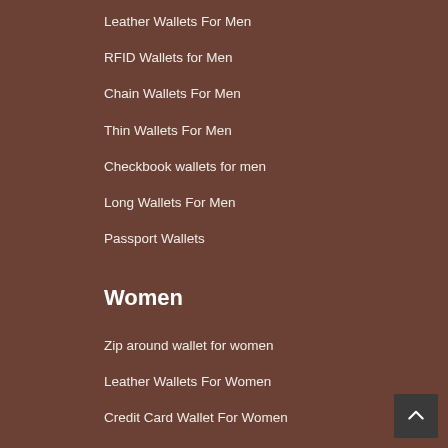Leather Wallets For Men
RFID Wallets for Men
Chain Wallets For Men
Thin Wallets For Men
Checkbook wallets for men
Long Wallets For Men
Passport Wallets
Women
Zip around wallet for women
Leather Wallets For Women
Credit Card Wallet For Women
Bi-Fold Wallets For Women
TRIFOLD Wallets for women